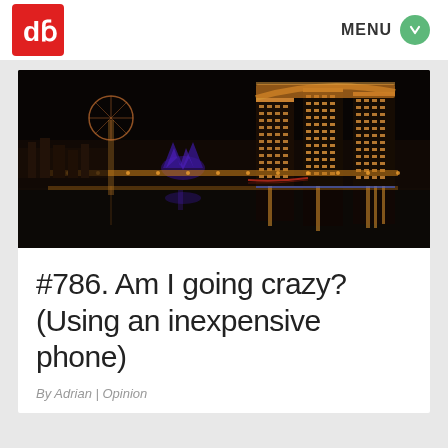[Figure (logo): Red square logo with white 'd6' or 'db' letters]
MENU
[Figure (photo): Night cityscape of Singapore's Marina Bay Sands and skyline reflected in water]
#786. Am I going crazy? (Using an inexpensive phone)
By Adrian | Opinion